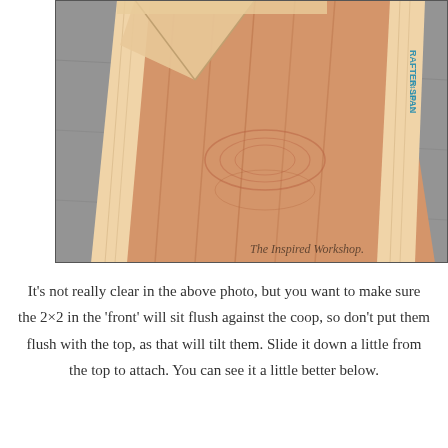[Figure (photo): Photo of wooden lumber pieces – two 2x2 boards framing a larger plywood sheet, viewed from above at an angle on a concrete floor. A watermark 'The Inspired Workshop' appears in the lower right corner of the photo.]
It's not really clear in the above photo, but you want to make sure the 2×2 in the 'front' will sit flush against the coop, so don't put them flush with the top, as that will tilt them. Slide it down a little from the top to attach. You can see it a little better below.